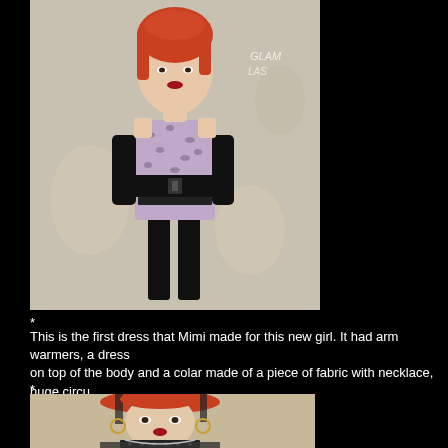[Figure (photo): A fashion doll with red/orange hair wearing a leopard print strapless mini dress with a wide black belt, black arm warmers/gloves, black stockings/tights, a black choker necklace, standing in front of a white floral background.]
*
This is the first dress that Mimi made for this new girl. It had arm warmers, a dress on top of the body and a colar made of a piece of fabric with necklace, huge circu
*
[Figure (photo): Close-up photo of a fashion doll's face and upper body with red/orange hair with dark streaks, wearing a choker/collar with studs and a mesh/sheer top with leopard print, hoop earrings.]